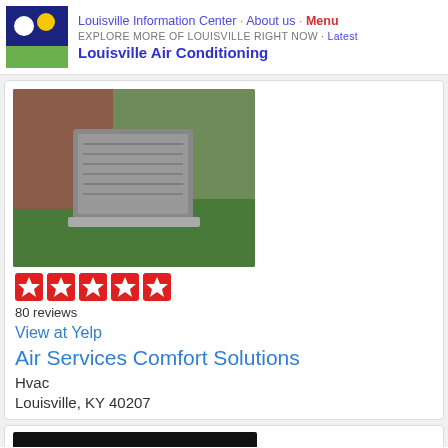Louisville Information Center · About us · Menu
EXPLORE MORE OF LOUISVILLE RIGHT NOW · Latest
Louisville Air Conditioning
[Figure (photo): Photo of an outdoor HVAC/air conditioning unit beside a brick building on green grass]
[Figure (other): Five red star rating boxes (5 stars)]
80 reviews
View at Yelp
Air Services Comfort Solutions
Hvac
Louisville, KY 40207
[Figure (photo): Emergency Air Conditioning Repair banner — dark background with white bold text EMERGENCY and orange subtitle Air Conditioning Repair]